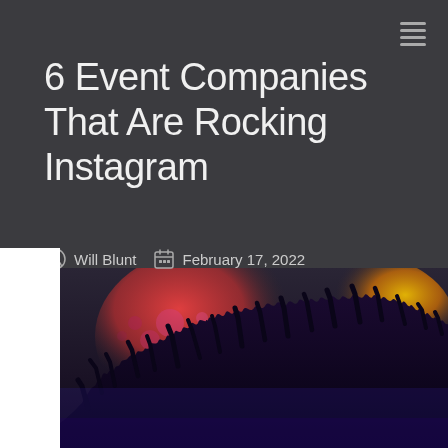[Figure (other): Hamburger/menu icon (three horizontal lines) in top right corner]
6 Event Companies That Are Rocking Instagram
Will Blunt   February 17, 2022
[Figure (photo): Concert crowd silhouette photo with colorful stage lighting — pink, red, orange, yellow bokeh lights above crowd with raised hands, purple/blue tones at bottom]